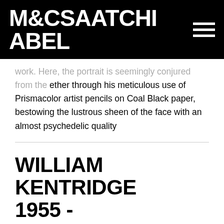M&CSAATCHI ABEL
work. Here, the portrait is seemingly conjured from the ether through his meticulous use of Prismacolor artist pencils on Coal Black paper, bestowing the lustrous sheen of the face with an almost psychedelic quality
WILLIAM KENTRIDGE
1955 -
OLD GODS HAVE RETIRED
2019
Coffee-lift aquatint with drypoint